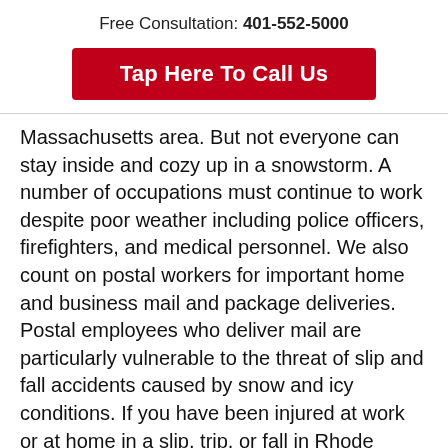Free Consultation: 401-552-5000
Tap Here To Call Us
Massachusetts area. But not everyone can stay inside and cozy up in a snowstorm. A number of occupations must continue to work despite poor weather including police officers, firefighters, and medical personnel. We also count on postal workers for important home and business mail and package deliveries. Postal employees who deliver mail are particularly vulnerable to the threat of slip and fall accidents caused by snow and icy conditions. If you have been injured at work or at home in a slip, trip, or fall in Rhode Island or Massachusetts, contact Providence personal